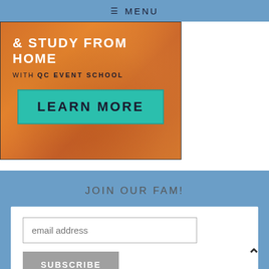≡ MENU
[Figure (illustration): Advertisement banner with orange floral background. Text reads '& STUDY FROM HOME with QC EVENT SCHOOL' with a teal 'LEARN MORE' button.]
JOIN OUR FAM!
email address
SUBSCRIBE